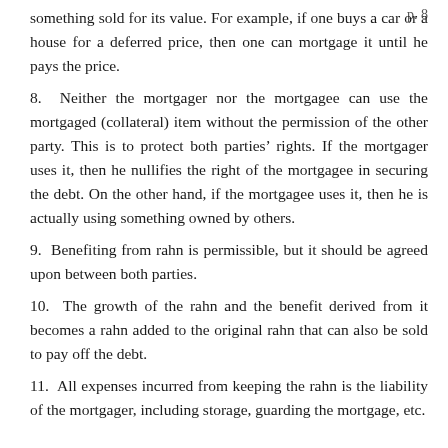p. 8
something sold for its value. For example, if one buys a car or a house for a deferred price, then one can mortgage it until he pays the price.
8.  Neither the mortgager nor the mortgagee can use the mortgaged (collateral) item without the permission of the other party. This is to protect both parties' rights. If the mortgager uses it, then he nullifies the right of the mortgagee in securing the debt. On the other hand, if the mortgagee uses it, then he is actually using something owned by others.
9.  Benefiting from rahn is permissible, but it should be agreed upon between both parties.
10.  The growth of the rahn and the benefit derived from it becomes a rahn added to the original rahn that can also be sold to pay off the debt.
11.  All expenses incurred from keeping the rahn is the liability of the mortgager, including storage, guarding the mortgage, etc.